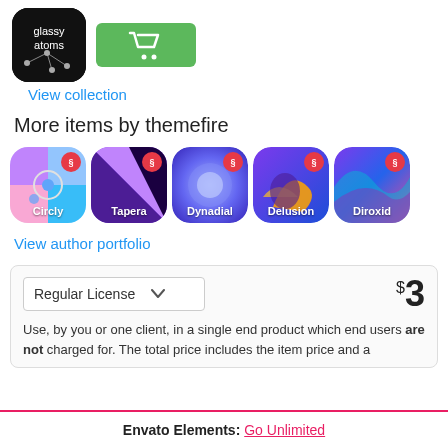[Figure (screenshot): App icon (glassy atoms) black background with white molecular/atom network drawing, plus green shopping cart button]
View collection
More items by themefire
[Figure (screenshot): Row of 5 app icons: Circly (geometric colorful), Tapera (purple gradient), Dynadial (blue gradient), Delusion (purple orange abstract), Diroxid (purple-blue wave). Each has a red Envato badge.]
View author portfolio
| License | Price |
| --- | --- |
| Regular License | $3 |
Use, by you or one client, in a single end product which end users are not charged for. The total price includes the item price and a
Envato Elements:  Go Unlimited